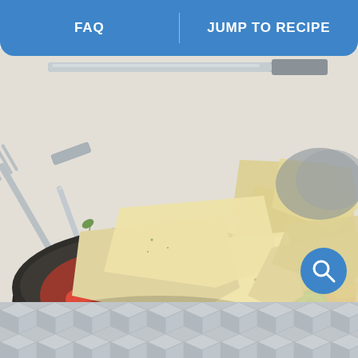FAQ | JUMP TO RECIPE
[Figure (photo): Overhead photo of tortilla chips piled in a dark skillet with pico de gallo salsa and melted cheese enchilada, garnished with jalapeno, surrounded by fork and knife on a white wood surface with fresh herbs]
[Figure (other): Gray geometric hexagon/cube pattern decorative footer bar]